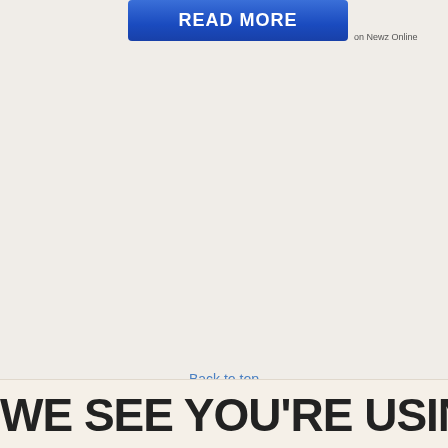[Figure (other): Blue READ MORE button with white bold text]
on Newz Online
Back to top
WE SEE YOU'RE USING AN AD